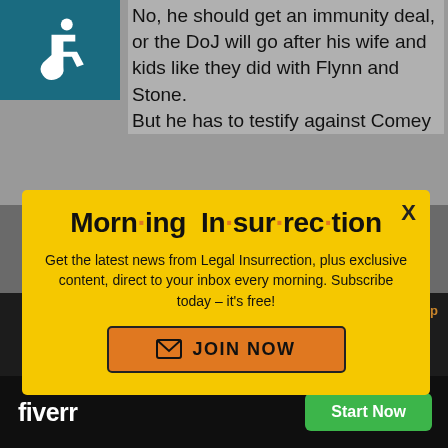[Figure (illustration): Accessibility wheelchair icon on teal/dark blue background]
No, he should get an immunity deal, or the DoJ will go after his wife and kids like they did with Flynn and Stone.
But he has to testify against Comey
[Figure (infographic): Morning Insurrection newsletter modal popup on yellow background with orange JOIN NOW button. Title reads: Morn·ing In·sur·rec·tion. Body: Get the latest news from Legal Insurrection, plus exclusive content, direct to your inbox every morning. Subscribe today – it's free!]
a foreign agent.
Back on Top
minrouse. | May 11, 2020 at
[Figure (logo): Fiverr logo on black background with green Start Now button]